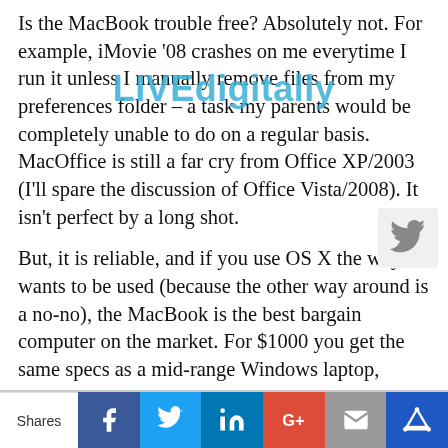Is the MacBook trouble free? Absolutely not. For example, iMovie '08 crashes on me everytime I run it unless I manually remove files from my preferences folder – a task my parents would be completely unable to do on a regular basis. MacOffice is still a far cry from Office XP/2003 (I'll spare the discussion of Office Vista/2008). It isn't perfect by a long shot.
But, it is reliable, and if you use OS X the way it wants to be used (because the other way around is a no-no), the MacBook is the best bargain computer on the market. For $1000 you get the same specs as a mid-range Windows laptop, except you get a computer than runs better and faster, all the time. It even tends to run Windows about as well as any Dell does, just in case you need to. The extra $500 is well worth it in the long run.
Shares | Facebook | Twitter | LinkedIn | Google+ | Email | Crown